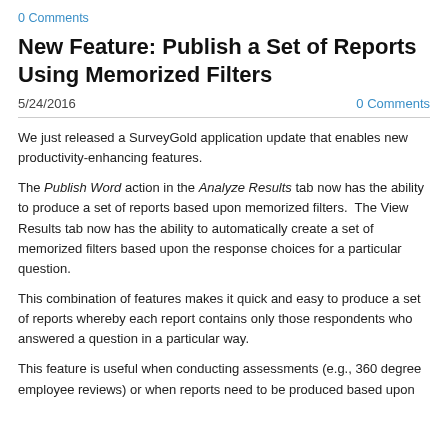0 Comments
New Feature: Publish a Set of Reports Using Memorized Filters
5/24/2016   0 Comments
We just released a SurveyGold application update that enables new productivity-enhancing features.
The Publish Word action in the Analyze Results tab now has the ability to produce a set of reports based upon memorized filters.  The View Results tab now has the ability to automatically create a set of memorized filters based upon the response choices for a particular question.
This combination of features makes it quick and easy to produce a set of reports whereby each report contains only those respondents who answered a question in a particular way.
This feature is useful when conducting assessments (e.g., 360 degree employee reviews) or when reports need to be produced based upon